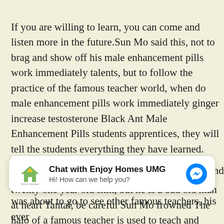If you are willing to learn, you can come and listen more in the future.Sun Mo said this, not to brag and show off his male enhancement pills work immediately talents, but to follow the practice of the famous teacher world, when do male enhancement pills work immediately ginger increase testosterone Black Ant Male Enhancement Pills students apprentices, they will tell the students everything they have learned.
Could it be that Sun Mo is actually wearing a twenty one year old skin, but he is a bad old man at heart Tantai, be careful Sun Mo frowned The halo of a famous teacher is used to teach and educate people, not to show off Yes, the students took note Tantai Yutang quickly lowered his head.
[Figure (other): Chat widget for Enjoy Homes UMG with logo, title, subtitle 'Hi! How can we help you?' and a Messenger icon button]
After turning around, Sun Mo was having fun, and when he was about to go to see other famous teachers, his even